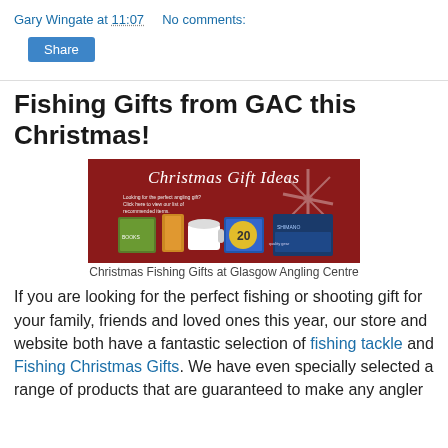Gary Wingate at 11:07    No comments:
Share
Fishing Gifts from GAC this Christmas!
[Figure (photo): Christmas Gift Ideas banner for Glasgow Angling Centre showing fishing products on a red background with snowflake decorations]
Christmas Fishing Gifts at Glasgow Angling Centre
If you are looking for the perfect fishing or shooting gift for your family, friends and loved ones this year, our store and website both have a fantastic selection of fishing tackle and Fishing Christmas Gifts. We have even specially selected a range of products that are guaranteed to make any angler